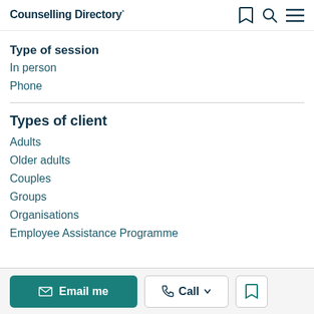Counselling Directory
Type of session
In person
Phone
Types of client
Adults
Older adults
Couples
Groups
Organisations
Employee Assistance Programme
Email me  Call  [bookmark]